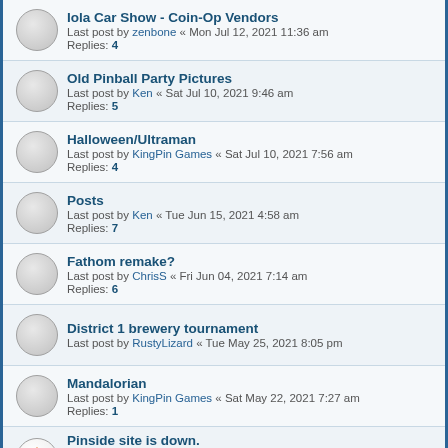Iola Car Show - Coin-Op Vendors
Last post by zenbone « Mon Jul 12, 2021 11:36 am
Replies: 4
Old Pinball Party Pictures
Last post by Ken « Sat Jul 10, 2021 9:46 am
Replies: 5
Halloween/Ultraman
Last post by KingPin Games « Sat Jul 10, 2021 7:56 am
Replies: 4
Posts
Last post by Ken « Tue Jun 15, 2021 4:58 am
Replies: 7
Fathom remake?
Last post by ChrisS « Fri Jun 04, 2021 7:14 am
Replies: 6
District 1 brewery tournament
Last post by RustyLizard « Tue May 25, 2021 8:05 pm
Mandalorian
Last post by KingPin Games « Sat May 22, 2021 7:27 am
Replies: 1
Pinside site is down.
Last post by Methos « Tue Apr 13, 2021 7:29 am
Replies: 15
[pages: 1, 2]
Rich and Me...